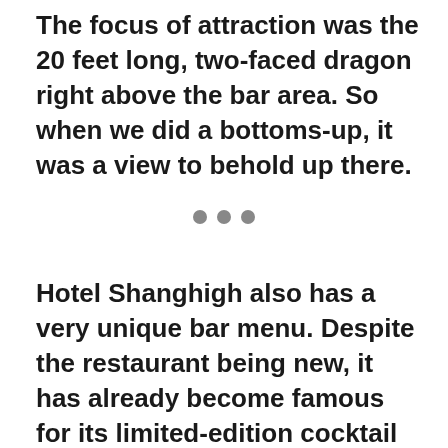The focus of attraction was the 20 feet long, two-faced dragon right above the bar area. So when we did a bottoms-up, it was a view to behold up there.
• • •
Hotel Shanghigh also has a very unique bar menu. Despite the restaurant being new, it has already become famous for its limited-edition cocktail menu with signature drinks that